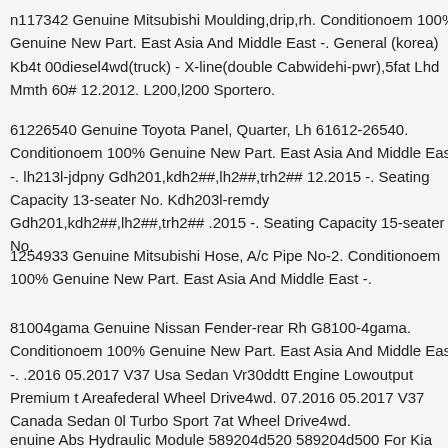n117342 Genuine Mitsubishi Moulding,drip,rh. Conditionoem 100% Genuine New Part. East Asia And Middle East -. General (korea) Kb4t00diesel4wd(truck) - X-line(double Cabwidehi-pwr),5fat Lhd Mmth60# 12.2012. L200,l200 Sportero.
61226540 Genuine Toyota Panel, Quarter, Lh 61612-26540. Conditionoem 100% Genuine New Part. East Asia And Middle East -. lh213l-jdpny Gdh201,kdh2##,lh2##,trh2## 12.2015 -. Seating Capacity 13-seater No. Kdh203l-remdy Gdh201,kdh2##,lh2##,trh2## .2015 -. Seating Capacity 15-seater No.
1254933 Genuine Mitsubishi Hose, A/c Pipe No-2. Conditionoem 100% Genuine New Part. East Asia And Middle East -.
81004gama Genuine Nissan Fender-rear Rh G8100-4gama. Conditionoem 100% Genuine New Part. East Asia And Middle East -. .2016 05.2017 V37 Usa Sedan Vr30ddtt Engine Lowoutput Premium t Areafederal Wheel Drive4wd. 07.2016 05.2017 V37 Canada Sedan 0l Turbo Sport 7at Wheel Drive4wd.
enuine Abs Hydraulic Module 589204d520 589204d500 For Kia